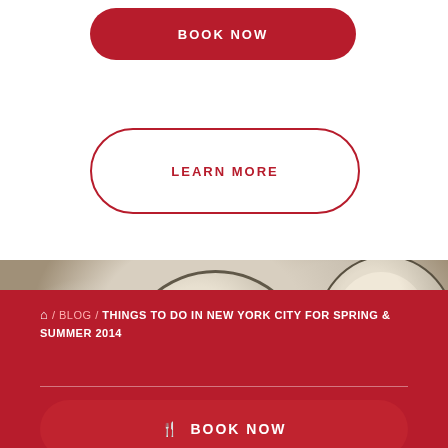BOOK NOW
LEARN MORE
[Figure (photo): Dim sum dumplings in steamer baskets on a table with a restaurant logo visible on the left side]
🏠 / BLOG / THINGS TO DO IN NEW YORK CITY FOR SPRING & SUMMER 2014
🍴 BOOK NOW